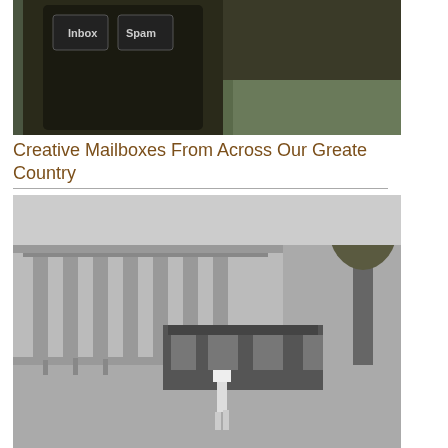[Figure (photo): Photo of creative mailboxes labeled 'Inbox' and 'Spam' mounted on a post outside a building]
Creative Mailboxes From Across Our Greate Country
[Figure (photo): Black and white historical photo of a runner with number 33 on a city street with a streetcar and large classical building in background]
America a Century Ago we have come a long way
What the hell is going on at the gym
How many of these 80's Celebrities do you remember?
On the web this week just to make you laugh